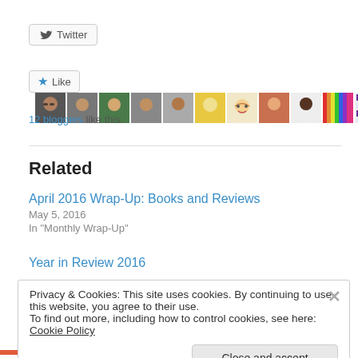[Figure (screenshot): Twitter share button with bird icon]
[Figure (screenshot): Like button with star icon and 10 blogger avatar thumbnails]
12 bloggers like this.
Related
April 2016 Wrap-Up: Books and Reviews
May 5, 2016
In "Monthly Wrap-Up"
Year in Review 2016
Privacy & Cookies: This site uses cookies. By continuing to use this website, you agree to their use.
To find out more, including how to control cookies, see here: Cookie Policy
[Figure (screenshot): Close and accept button for cookie banner]